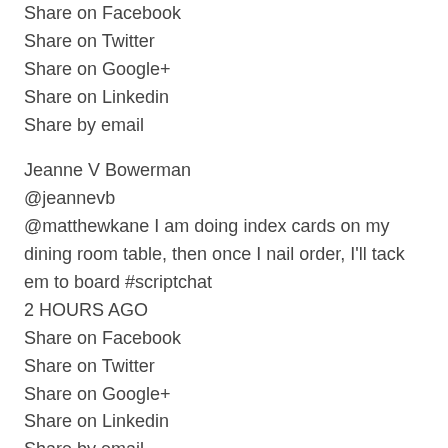Share on Facebook
Share on Twitter
Share on Google+
Share on Linkedin
Share by email
Jeanne V Bowerman
@jeannevb
@matthewkane I am doing index cards on my dining room table, then once I nail order, I'll tack em to board #scriptchat
2 HOURS AGO
Share on Facebook
Share on Twitter
Share on Google+
Share on Linkedin
Share by email
Jeanne V Bowerman
@jeannevb
@TheWrookie blue cheese. Oh wait, that's 2 words #scriptchat
2 HOURS AGO
Share on Facebook